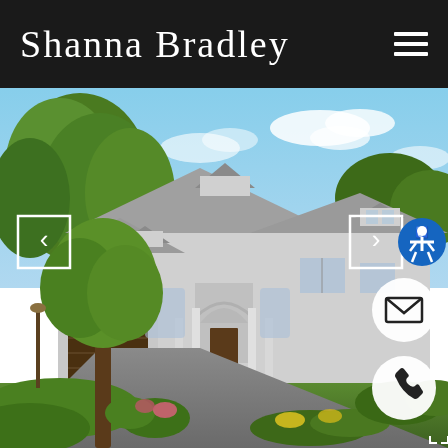Shanna Bradley
[Figure (photo): Exterior photo of a large white luxury home with grey roof, arched entryway, columns, multiple dormers, lush green trees and landscaped gardens in foreground, blue sky background. Navigation arrows, accessibility button, email button, phone button, and fullscreen icon overlaid on image.]